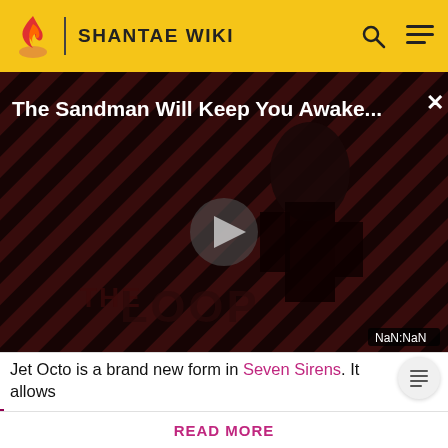SHANTAE WIKI
[Figure (screenshot): Video player showing 'The Sandman Will Keep You Awake...' with a dark figure on a striped red/black background, THE LOOP branding, play button, and NaN:NaN time display]
Jet Octo is a brand new form in Seven Sirens. It allows
Shantae and the Seven Sirens is now out! Did you know tha Shantae Wiki has a Discord server? Discuss the newest game
READ MORE